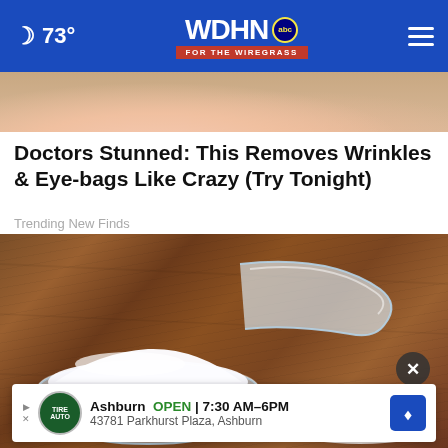WDHN ABC FOR THE WIREGRASS — 73°
[Figure (photo): Top portion of a person's face showing a smiling woman with blonde hair]
Doctors Stunned: This Removes Wrinkles & Eye-bags Like Crazy (Try Tonight)
Trending New Finds
[Figure (photo): A white plastic measuring scoop filled with white powder, placed on a wooden surface with some powder spilled beside it]
Ashburn OPEN | 7:30 AM–6PM
43781 Parkhurst Plaza, Ashburn